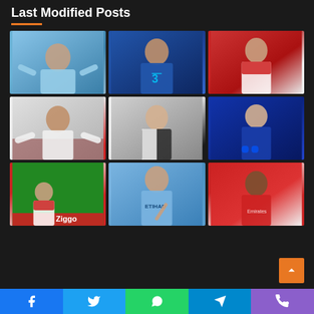Last Modified Posts
[Figure (photo): Football player in light blue Manchester City kit celebrating with arms spread]
[Figure (photo): Football player in blue Chelsea kit with hand on chest]
[Figure (photo): Football player in Ajax red and white kit standing]
[Figure (photo): Football player in white Torino kit celebrating with arms wide]
[Figure (photo): Football player in Juventus black and white kit]
[Figure (photo): Football player in Inter Milan dark blue kit]
[Figure (photo): Ajax player on pitch with Ziggo branding in background]
[Figure (photo): Football player in Manchester City sky blue Etihad kit smiling and pointing]
[Figure (photo): Football player in Arsenal red kit]